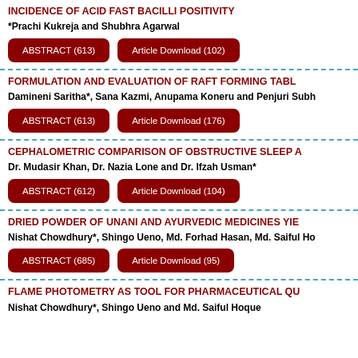INCIDENCE OF ACID FAST BACILLI POSITIVITY
*Prachi Kukreja and Shubhra Agarwal
ABSTRACT (613)   Article Download (102)
FORMULATION AND EVALUATION OF RAFT FORMING TABL...
Damineni Saritha*, Sana Kazmi, Anupama Koneru and Penjuri Subh...
ABSTRACT (613)   Article Download (176)
CEPHALOMETRIC COMPARISON OF OBSTRUCTIVE SLEEP A...
Dr. Mudasir Khan, Dr. Nazia Lone and Dr. Ifzah Usman*
ABSTRACT (612)   Article Download (104)
DRIED POWDER OF UNANI AND AYURVEDIC MEDICINES YIE...
Nishat Chowdhury*, Shingo Ueno, Md. Forhad Hasan, Md. Saiful Ho...
ABSTRACT (685)   Article Download (95)
FLAME PHOTOMETRY AS TOOL FOR PHARMACEUTICAL QU...
Nishat Chowdhury*, Shingo Ueno and Md. Saiful Hoque